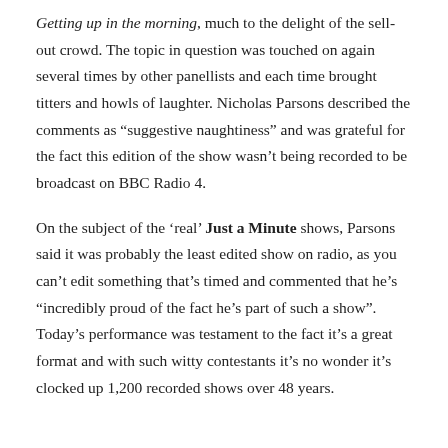Getting up in the morning, much to the delight of the sell-out crowd. The topic in question was touched on again several times by other panellists and each time brought titters and howls of laughter. Nicholas Parsons described the comments as “suggestive naughtiness” and was grateful for the fact this edition of the show wasn’t being recorded to be broadcast on BBC Radio 4.
On the subject of the ‘real’ Just a Minute shows, Parsons said it was probably the least edited show on radio, as you can’t edit something that’s timed and commented that he’s “incredibly proud of the fact he’s part of such a show”. Today’s performance was testament to the fact it’s a great format and with such witty contestants it’s no wonder it’s clocked up 1,200 recorded shows over 48 years.